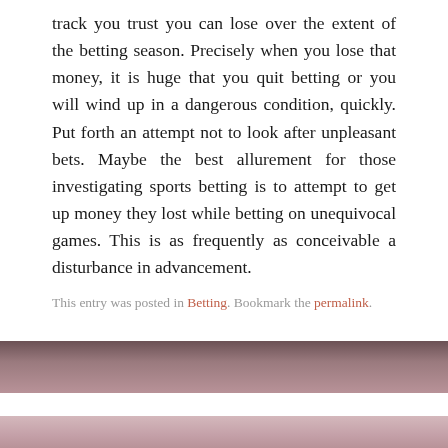track you trust you can lose over the extent of the betting season. Precisely when you lose that money, it is huge that you quit betting or you will wind up in a dangerous condition, quickly. Put forth an attempt not to look after unpleasant bets. Maybe the best allurement for those investigating sports betting is to attempt to get up money they lost while betting on unequivocal games. This is as frequently as conceivable a disturbance in advancement.
This entry was posted in Betting. Bookmark the permalink.
[Figure (photo): Dark reddish-brown blurred background image strip]
← Consider Slots Game For Real Money Sites And Proceed With It
Trusted Dominoqq Online Sites Best Place To Play →
[Figure (photo): Pinkish-mauve blurred background image strip at bottom]